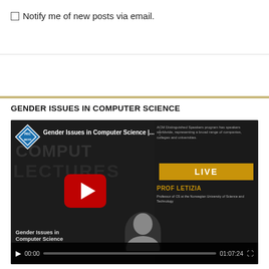Notify me of new posts via email.
GENDER ISSUES IN COMPUTER SCIENCE
[Figure (screenshot): YouTube video thumbnail and player for 'Gender Issues in Computer Science' ACM Distinguished Speaker lecture by Prof Letizia, showing COMPUTER LECTURES background, ACM logo, red YouTube play button, LIVE badge, professor photo, and video controls showing 00:00 / 01:07:24]